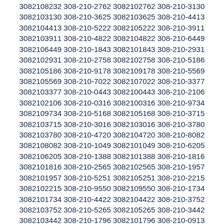3082108232 308-210-2762 3082102762 308-210-3130 3082103130 308-210-3625 3082103625 308-210-4413 3082104413 308-210-5222 3082105222 308-210-3911 3082103911 308-210-4822 3082104822 308-210-6449 3082106449 308-210-1843 3082101843 308-210-2931 3082102931 308-210-2758 3082102758 308-210-5186 3082105186 308-210-9178 3082109178 308-210-5569 3082105569 308-210-7022 3082107022 308-210-3377 3082103377 308-210-0443 3082100443 308-210-2106 3082102106 308-210-0316 3082100316 308-210-9734 3082109734 308-210-5168 3082105168 308-210-3715 3082103715 308-210-3016 3082103016 308-210-3780 3082103780 308-210-4720 3082104720 308-210-8082 3082108082 308-210-1049 3082101049 308-210-6205 3082106205 308-210-1388 3082101388 308-210-1816 3082101816 308-210-2565 3082102565 308-210-1957 3082101957 308-210-5251 3082105251 308-210-2215 3082102215 308-210-9550 3082109550 308-210-1734 3082101734 308-210-4422 3082104422 308-210-3752 3082103752 308-210-5265 3082105265 308-210-3442 3082103442 308-210-1796 3082101796 308-210-0913 3082100913 308-210-9216 3082109216 308-210-6510 3082106510 308-210-0564 3082100564 308-210-3959 3082103959 308-210-8782 3082108782 308-210-5596 3082105596 308-210-0001 3082100001 308-210-0975 3082100975 308-210-8624 3082108624 308-210-7817